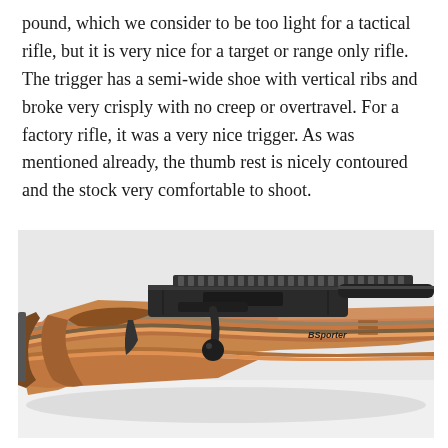pound, which we consider to be too light for a tactical rifle, but it is very nice for a target or range only rifle. The trigger has a semi-wide shoe with vertical ribs and broke very crisply with no creep or overtravel. For a factory rifle, it was a very nice trigger. As was mentioned already, the thumb rest is nicely contoured and the stock very comfortable to shoot.
[Figure (photo): Close-up photograph of a bolt-action rifle with a laminated wood stock featuring orange, brown, and black layered wood grain. The stock has a thumb rest and is labeled 'B Sporter'. The action area shows a black bolt with a round knob handle, a Picatinny rail on top of the receiver, and a black barrel extending to the right. The rifle is resting on a white surface.]